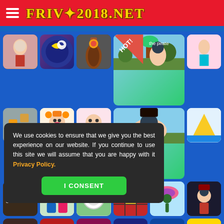FRIV*2018.NET
[Figure (screenshot): Grid of online game thumbnails on FRIV 2018 website with blue background. Row 1: dress-up game, captain america style game, ice cream/candy game, pirate game (HOT! label), fashion game. Row 2: puzzle game, baby halloween game, face/eye care game, pirate game large, yellow mountain game. Row 3: gets homero game, adventure couple game, archery game, red grid puzzle, parachute soldier game, ninja game. Row 4: partially visible row of games and right-side thumbnails: shooter game, yellow car, fashion girls, rapunzel ballet, more games.]
We use cookies to ensure that we give you the best experience on our website. If you continue to use this site we will assume that you are happy with it Privacy Policy.
I CONSENT